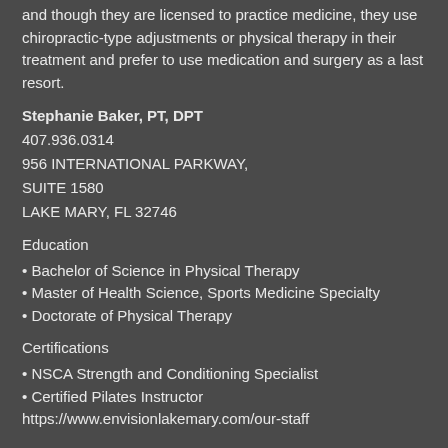and though they are licensed to practice medicine, they use chiropractic-type adjustments or physical therapy in their treatment and prefer to use medication and surgery as a last resort.
Stephanie Baker, PT, DPT
407.936.0314
956 INTERNATIONAL PARKWAY, SUITE 1580
LAKE MARY, FL 32746
Education
Bachelor of Science in Physical Therapy
Master of Health Science, Sports Medicine Specialty
Doctorate of Physical Therapy
Certifications
NSCA Strength and Conditioning Specialist
Certified Pilates Instructor
https://www.envisionlakemary.com/our-staff